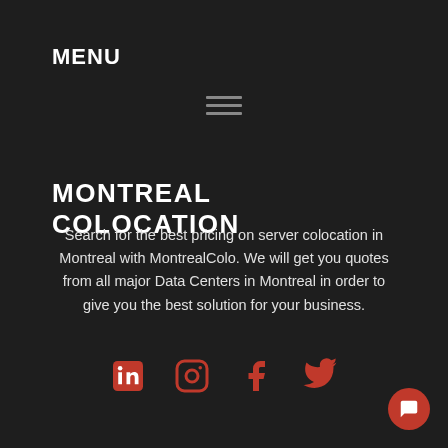MENU
[Figure (other): Hamburger menu icon (three horizontal lines)]
MONTREAL COLOCATION
Search for the best pricing on server colocation in Montreal with MontrealColo. We will get you quotes from all major Data Centers in Montreal in order to give you the best solution for your business.
[Figure (other): Social media icons: LinkedIn, Instagram, Facebook, Twitter in orange/red color]
[Figure (other): Chat button (red circle with white chat icon) in bottom right corner]